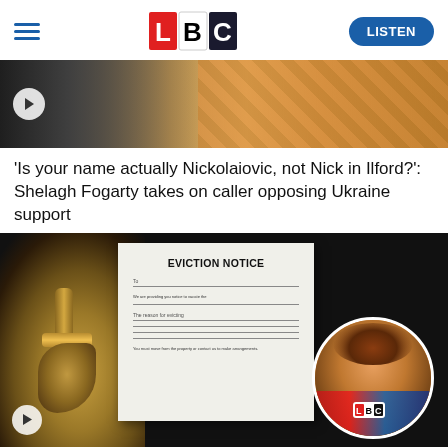LBC — LISTEN
[Figure (photo): Partial view of people standing, thumbnail image for a video story]
'Is your name actually Nickolaiovic, not Nick in Ilford?': Shelagh Fogarty takes on caller opposing Ukraine support
[Figure (photo): Eviction notice pinned to a dark door with a brass door handle, and a circular inset portrait of Shelagh Fogarty at an LBC microphone]